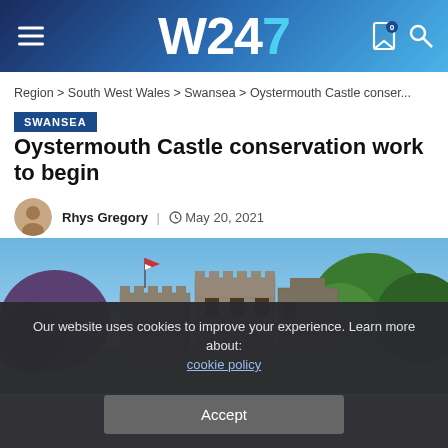W247
Region > South West Wales > Swansea > Oystermouth Castle conser...
SWANSEA
Oystermouth Castle conservation work to begin
Rhys Gregory | May 20, 2021
[Figure (photo): Photograph of Oystermouth Castle under a blue sky, with stone ruins and surrounding trees and green lawn]
Our website uses cookies to improve your experience. Learn more about: cookie policy
Accept